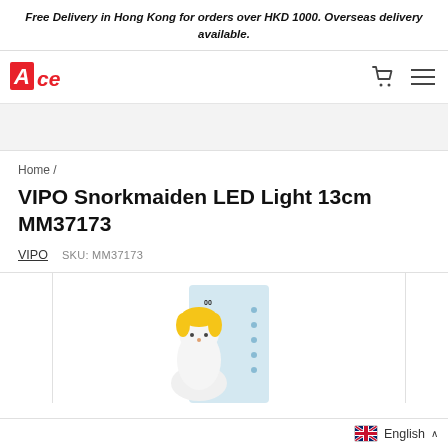Free Delivery in Hong Kong for orders over HKD 1000. Overseas delivery available.
[Figure (logo): Ace Hardware logo in red italic font with stylized A]
Home /
VIPO Snorkmaiden LED Light 13cm MM37173
VIPO   SKU: MM37173
[Figure (photo): Product photo of VIPO Snorkmaiden LED Light 13cm — a white figurine with yellow hair, partially visible]
English